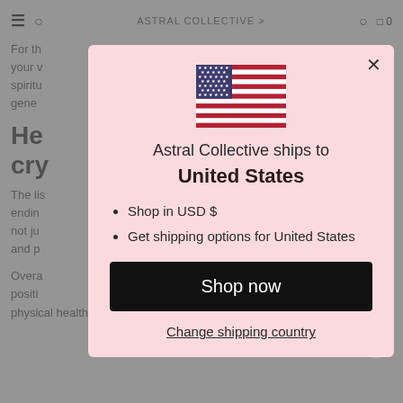[Figure (screenshot): Background webpage content showing navigation bar, partial article text about healing crystals, and page elements obscured by modal overlay]
[Figure (illustration): US flag icon displayed at top center of modal dialog]
Astral Collective ships to
United States
Shop in USD $
Get shipping options for United States
Shop now
Change shipping country